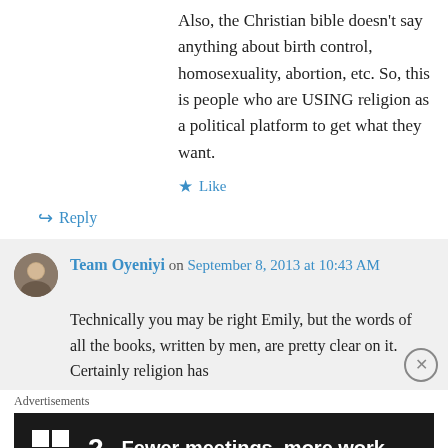Also, the Christian bible doesn't say anything about birth control, homosexuality, abortion, etc. So, this is people who are USING religion as a political platform to get what they want.
★ Like
↪ Reply
Team Oyeniyi on September 8, 2013 at 10:43 AM
Technically you may be right Emily, but the words of all the books, written by men, are pretty clear on it. Certainly religion has
Advertisements
[Figure (screenshot): Advertisement banner with dark background showing 'F2' logo and text 'Fewer meetings, more work.']